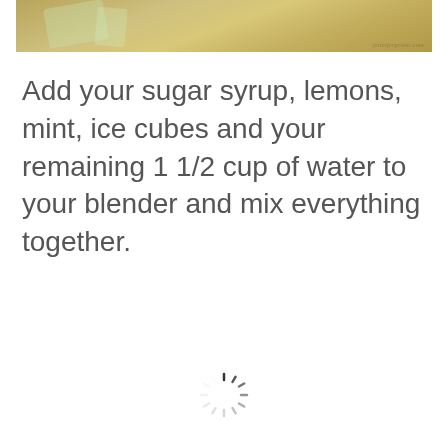[Figure (photo): Partial photo of a blended drink or lemonade with garnish, with watermark text reading 'jenniferpriest.com']
Add your sugar syrup, lemons, mint, ice cubes and your remaining 1 1/2 cup of water to your blender and mix everything together.
[Figure (other): Loading spinner / activity indicator graphic]